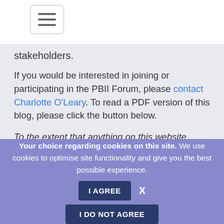[Figure (other): Hamburger menu button icon with three horizontal lines]
stakeholders.
If you would be interested in joining or participating in the PBII Forum, please contact Charlotte O'Leary. To read a PDF version of this blog, please click the button below.
To the extent that anything on this website constitutes a financial promotion it is exempt from the general prohibition in S21 of FSMA on the basis that the site is only intended for
Your choice regarding cookies on this site. We use cookies to optimise site functionality and give you the best possible experience.
I AGREE
I DO NOT AGREE
X